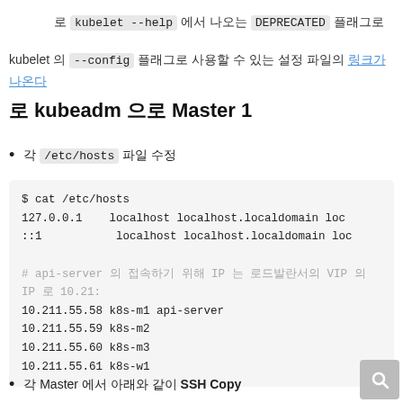로 kubelet --help 에서 나오는 DEPRECATED 플래그로
kubelet 의 --config 플래그로 사용할 수 있는 설정 파일의 링크가 나온다
로 kubeadm 으로 Master 1
각 /etc/hosts 파일 수정
[Figure (screenshot): Code block showing /etc/hosts file contents with localhost entries and IP mappings for k8s nodes: 127.0.0.1, ::1, 10.211.55.58 k8s-m1 api-server, 10.211.55.59 k8s-m2, 10.211.55.60 k8s-m3, 10.211.55.61 k8s-w1]
각 Master 에서 아래와 같이 SSH Copy